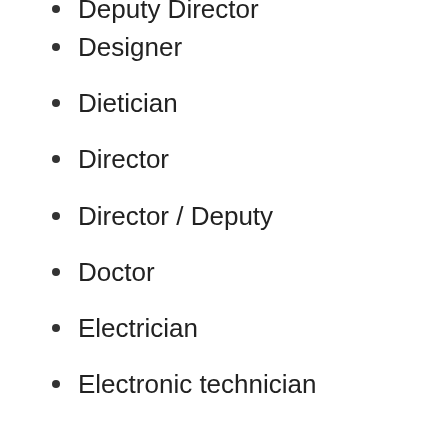Deputy Director
Designer
Dietician
Director
Director / Deputy
Doctor
Electrician
Electronic technician
Electronics Engineer
Employee
Engineer
Expert